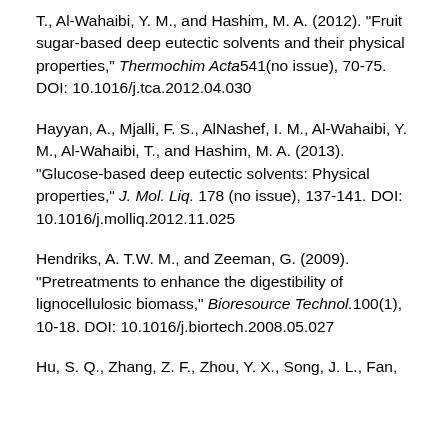T., Al-Wahaibi, Y. M., and Hashim, M. A. (2012). "Fruit sugar-based deep eutectic solvents and their physical properties," Thermochim Acta541(no issue), 70-75. DOI: 10.1016/j.tca.2012.04.030
Hayyan, A., Mjalli, F. S., AlNashef, I. M., Al-Wahaibi, Y. M., Al-Wahaibi, T., and Hashim, M. A. (2013). "Glucose-based deep eutectic solvents: Physical properties," J. Mol. Liq. 178 (no issue), 137-141. DOI: 10.1016/j.molliq.2012.11.025
Hendriks, A. T.W. M., and Zeeman, G. (2009). "Pretreatments to enhance the digestibility of lignocellulosic biomass," Bioresource Technol.100(1), 10-18. DOI: 10.1016/j.biortech.2008.05.027
Hu, S. Q., Zhang, Z. F., Zhou, Y. X., Song, J. L., Fan,